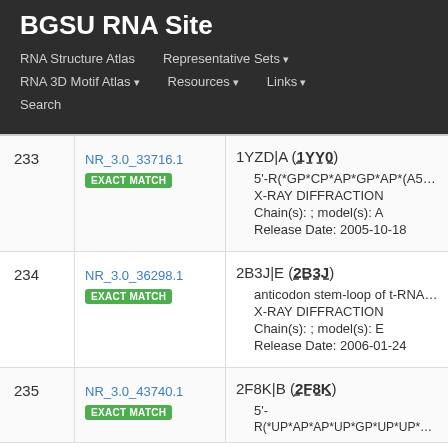BGSU RNA Site
RNA Structure Atlas
Representative Sets ▾
RNA 3D Motif Atlas ▾
Resources ▾
Links ▾
Search
| # | ID | Details |
| --- | --- | --- |
| 233 | NR_3.0_33716.1
EXACT MATCH | 1YZD|A (1YY0)
• 5'-R(*GP*CP*AP*GP*AP*(A5M)P*UP*UP*
• X-RAY DIFFRACTION
• Chain(s): ; model(s): A
• Release Date: 2005-10-18 |
| 234 | NR_3.0_36298.1
EXACT MATCH | 2B3J|E (2B3J)
• anticodon stem-loop of t-RNA-Arg2 (nucle[
• X-RAY DIFFRACTION
• Chain(s): ; model(s): E
• Release Date: 2006-01-24 |
| 235 | NR_3.0_43740.1
EXACT MATCH | 2F8K|B (2F8K)
• 5'-
R(*UP*AP*AP*UP*GP*UP*UP*UP*GP* |